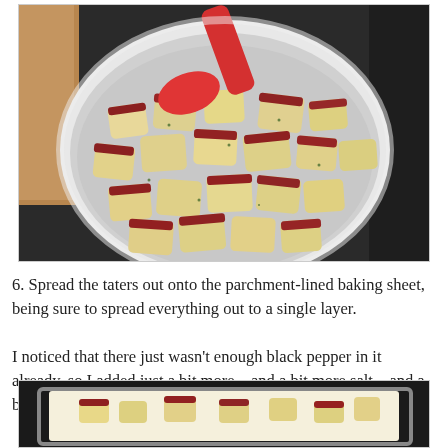[Figure (photo): A white bowl filled with chopped red potatoes seasoned with herbs, with a red silicone spatula resting in the bowl, on a dark countertop.]
6. Spread the taters out onto the parchment-lined baking sheet, being sure to spread everything out to a single layer.
I noticed that there just wasn't enough black pepper in it already, so I added just a bit more... and a bit more salt... and a bit of dried parsley.
[Figure (photo): Chopped red potatoes spread out on a parchment-lined baking sheet, partially visible at bottom of page.]